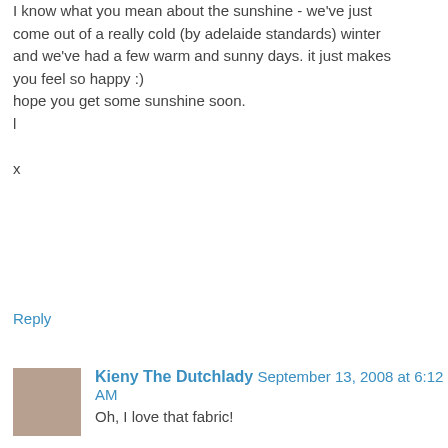I know what you mean about the sunshine - we've just come out of a really cold (by adelaide standards) winter and we've had a few warm and sunny days. it just makes you feel so happy :)
hope you get some sunshine soon.
l
x
Reply
Kieny The Dutchlady  September 13, 2008 at 6:12 AM
Oh, I love that fabric!
Reply
Abby and Stephanie  September 13, 2008 at 6:14 AM
Absolutely LOVE how you set your blocks. You are not only productive but extremely creative and I always look forward to seeing what you come up with. I also happen to love Alexander Henry.
Reply